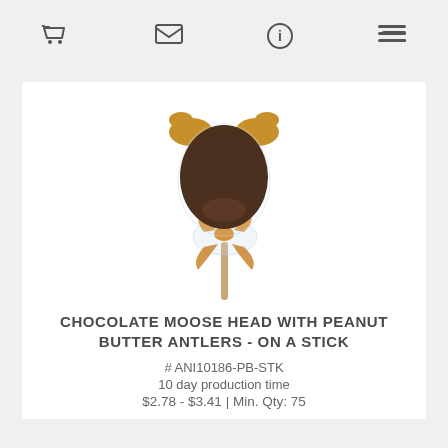Navigation icons: cart, mail, info, list
[Figure (photo): A chocolate moose head with peanut butter antlers on a stick, wrapped in clear cellophane and tied with a golden ribbon bow.]
CHOCOLATE MOOSE HEAD WITH PEANUT BUTTER ANTLERS - ON A STICK
# ANI10186-PB-STK
10 day production time
$2.78 - $3.41 | Min. Qty: 75